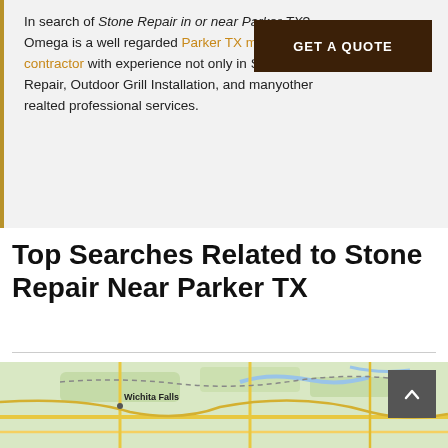In search of Stone Repair in or near Parker TX? Omega is a well regarded Parker TX masonry contractor with experience not only in Stone Repair, Outdoor Grill Installation, and manyother realted professional services.
Top Searches Related to Stone Repair Near Parker TX
[Figure (map): Map showing region near Wichita Falls TX with roads and terrain in greens and yellows]